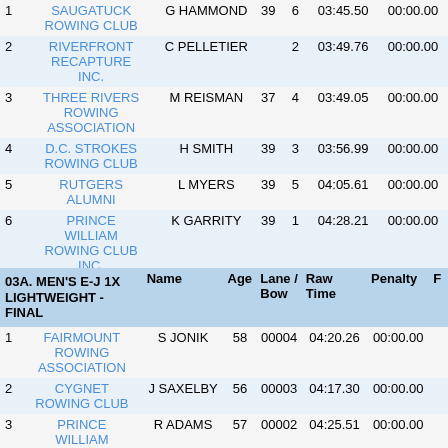| # | Club | Name | Age | Lane / Bow | Raw Time | Penalty | F |
| --- | --- | --- | --- | --- | --- | --- | --- |
| 1 | SAUGATUCK ROWING CLUB | G HAMMOND | 39 | 6 | 03:45.50 | 00:00.00 |  |
| 2 | RIVERFRONT RECAPTURE INC. | C PELLETIER |  | 2 | 03:49.76 | 00:00.00 |  |
| 3 | THREE RIVERS ROWING ASSOCIATION | M REISMAN | 37 | 4 | 03:49.05 | 00:00.00 |  |
| 4 | D.C. STROKES ROWING CLUB | H SMITH | 39 | 3 | 03:56.99 | 00:00.00 |  |
| 5 | RUTGERS ALUMNI | L MYERS | 39 | 5 | 04:05.61 | 00:00.00 |  |
| 6 | PRINCE WILLIAM ROWING CLUB INC. | K GARRITY | 39 | 1 | 04:28.21 | 00:00.00 |  |
| 03A. MEN'S E-J 1X LIGHTWEIGHT - FINAL | Name | Age | Lane / Bow | Raw Time | Penalty | F |
| --- | --- | --- | --- | --- | --- | --- |
| 1 | FAIRMOUNT ROWING ASSOCIATION | S JONIK | 58 | 00004 | 04:20.26 | 00:00.00 |  |
| 2 | CYGNET ROWING CLUB | J SAXELBY | 56 | 00003 | 04:17.30 | 00:00.00 |  |
| 3 | PRINCE WILLIAM... | R ADAMS | 57 | 00002 | 04:25.51 | 00:00.00 |  |